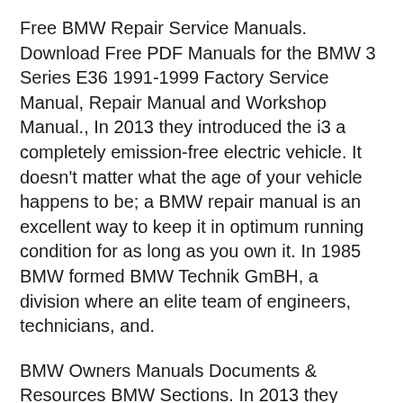Free BMW Repair Service Manuals. Download Free PDF Manuals for the BMW 3 Series E36 1991-1999 Factory Service Manual, Repair Manual and Workshop Manual., In 2013 they introduced the i3 a completely emission-free electric vehicle. It doesn't matter what the age of your vehicle happens to be; a BMW repair manual is an excellent way to keep it in optimum running condition for as long as you own it. In 1985 BMW formed BMW Technik GmBH, a division where an elite team of engineers, technicians, and.
BMW Owners Manuals Documents & Resources BMW Sections. In 2013 they introduced the i3 a completely